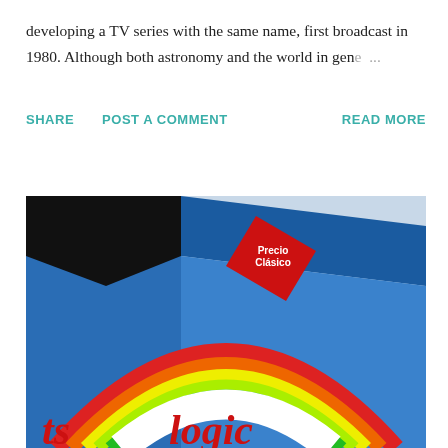developing a TV series with the same name, first broadcast in 1980. Although both astronomy and the world in gene ...
SHARE   POST A COMMENT   READ MORE
[Figure (photo): Close-up photo of a colorful product box featuring a rainbow design (green, yellow, white arc) against a blue background, with a red diamond-shaped badge. The word 'logic' is partially visible at the bottom in red italic lettering.]